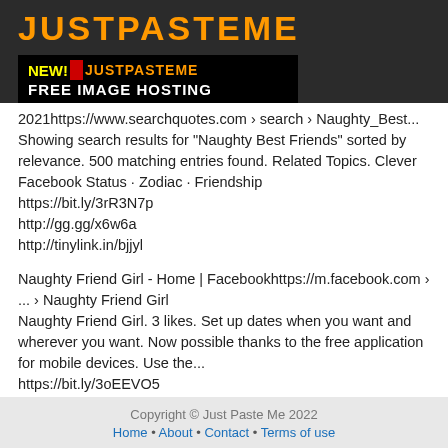JUSTPASTEME
[Figure (logo): NEW! [red box] JUSTPASTEME FREE IMAGE HOSTING banner on black background]
2021https://www.searchquotes.com › search › Naughty_Best... Showing search results for "Naughty Best Friends" sorted by relevance. 500 matching entries found. Related Topics. Clever Facebook Status · Zodiac · Friendship
https://bit.ly/3rR3N7p
http://gg.gg/x6w6a
http://tinylink.in/bjjyl
Naughty Friend Girl - Home | Facebookhttps://m.facebook.com › ... › Naughty Friend Girl
Naughty Friend Girl. 3 likes. Set up dates when you want and wherever you want. Now possible thanks to the free application for mobile devices. Use the...
https://bit.ly/3oEEVO5
http://gg.gg/x6w6l
Copyright © Just Paste Me 2022
Home • About • Contact • Terms of use